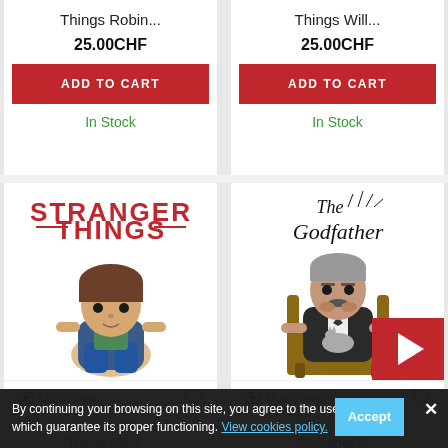Things Robin...
25.00CHF
ADD TO CART
In Stock
Things Will...
25.00CHF
ADD TO CART
In Stock
[Figure (photo): Funko Pop Stranger Things Steve figurine with Stranger Things logo]
Quick view
[Figure (photo): Funko Pop The Godfather Vito Corleone figurine with The Godfather logo]
Quick view
Funko Pop Stranger Things Steve...
25.00CHF
Funko Pop The Godfather Vi...
25.00CHF
By continuing your browsing on this site, you agree to the use of Cookies which guarantee its proper functioning. View cookies policy.